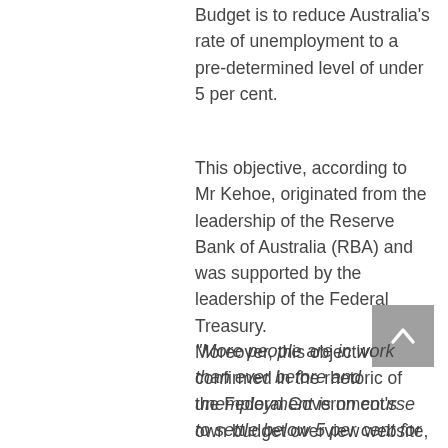Budget is to reduce Australia's rate of unemployment to a pre-determined level of under 5 per cent.
This objective, according to Mr Kehoe, originated from the leadership of the Reserve Bank of Australia (RBA) and was supported by the leadership of the Federal Treasury. Moreover, this objective is confirmed in the rhetoric of the Federal Government's own budget overview website, which states:
“More people are in work than ever before and unemployment is on course to settle below 5 per cent for just the second time in almost 50 years.’[3]